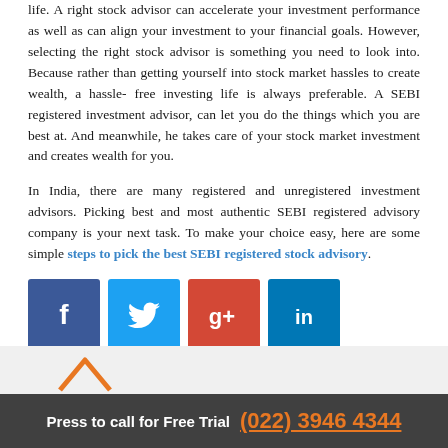life. A right stock advisor can accelerate your investment performance as well as can align your investment to your financial goals. However, selecting the right stock advisor is something you need to look into. Because rather than getting yourself into stock market hassles to create wealth, a hassle-free investing life is always preferable. A SEBI registered investment advisor, can let you do the things which you are best at. And meanwhile, he takes care of your stock market investment and creates wealth for you.
In India, there are many registered and unregistered investment advisors. Picking best and most authentic SEBI registered advisory company is your next task. To make your choice easy, here are some simple steps to pick the best SEBI registered stock advisory.
[Figure (infographic): Social media share icons: Facebook (blue), Twitter (light blue), Google+ (red), LinkedIn (dark blue)]
[Figure (logo): Orange house/roof logo icon at bottom of page in gray strip]
Press to call for Free Trial (022) 3946 4344